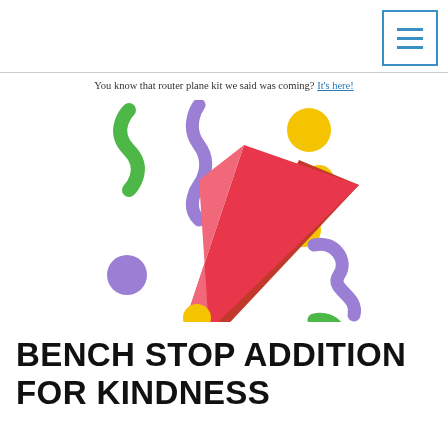You know that router plane kit we said was coming? It's here!
[Figure (illustration): Colorful party popper / confetti popper emoji-style illustration with red cone, colorful squiggles (green, purple), and dots (yellow, green, purple) scattered around it.]
BENCH STOP ADDITION FOR KINDNESS